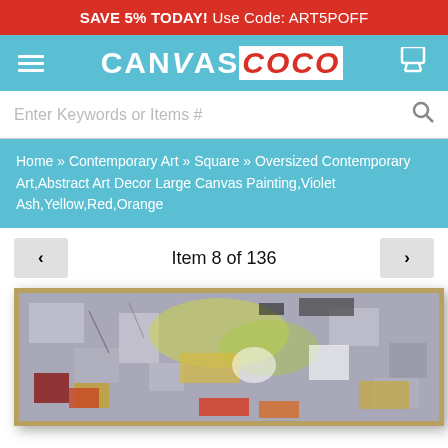SAVE 5% TODAY!  Use Code: ART5POFF
[Figure (logo): Canvas Coco logo with hamburger menu and cart icon on teal background]
Enter Keywords or Items #
Home » Contemporary Art » Square » Oversized Contemporary Art,Abstract Art Decor Large Canvas Painting,Violet Ash,Yellow,Red,Orange
Item 8 of 136
[Figure (photo): Abstract art canvas painting with violet ash, yellow, red, orange colors in a gold frame]